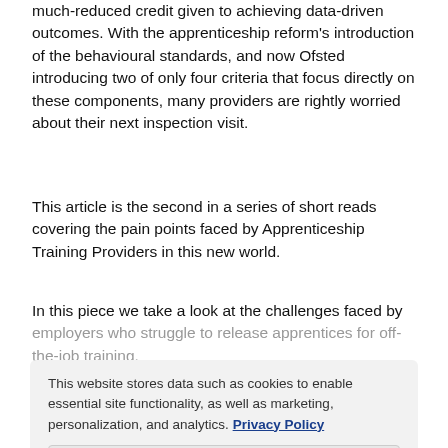much-reduced credit given to achieving data-driven outcomes. With the apprenticeship reform's introduction of the behavioural standards, and now Ofsted introducing two of only four criteria that focus directly on these components, many providers are rightly worried about their next inspection visit.
This article is the second in a series of short reads covering the pain points faced by Apprenticeship Training Providers in this new world.
In this piece we take a look at the challenges faced by employers who struggle to release apprentices for off-the-job training.
The reluctance of employers to release apprentices for off-the-job training
When you are an employer, you look to get the most productivity from all your employees. When taking on an apprentice, the perception is that you are getting a less
This website stores data such as cookies to enable essential site functionality, as well as marketing, personalization, and analytics. Privacy Policy
Accept
Deny